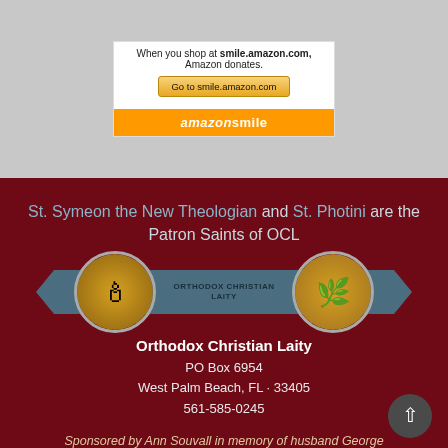[Figure (screenshot): Amazon Smile widget showing 'When you shop at smile.amazon.com, Amazon donates.' with a button 'Go to smile.amazon.com' and an orange Amazon Smile logo bar at the bottom.]
St. Symeon the New Theologian and St. Photini are the Patron Saints of OCL
[Figure (logo): Orthodox Christian Laity logo: a horizontal ribbon banner in teal/blue with two circular icons on each side — one showing an icon of St. Symeon and one showing an icon of St. Photini — with text 'ORTHODOX CHRISTIAN LAITY' in the center ribbon.]
Orthodox Christian Laity
PO Box 6954
West Palm Beach, FL · 33405
561-585-0245
Sponsored by Ann Souvall in memory of husband George